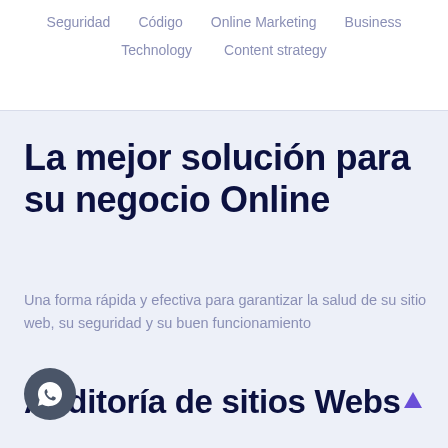Seguridad   Código   Online Marketing   Business   Technology   Content strategy
La mejor solución para su negocio Online
Una forma rápida y efectiva para garantizar la salud de su sitio web, su seguridad y su buen funcionamiento
Auditoría de sitios Webs